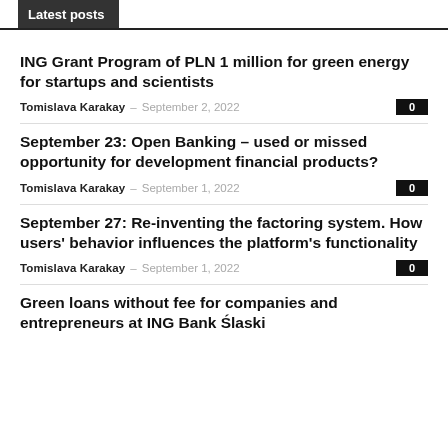Latest posts
ING Grant Program of PLN 1 million for green energy for startups and scientists
Tomislava Karakay – September 2, 2022  0
September 23: Open Banking – used or missed opportunity for development financial products?
Tomislava Karakay – September 1, 2022  0
September 27: Re-inventing the factoring system. How users' behavior influences the platform's functionality
Tomislava Karakay – September 1, 2022  0
Green loans without fee for companies and entrepreneurs at ING Bank Ślaski